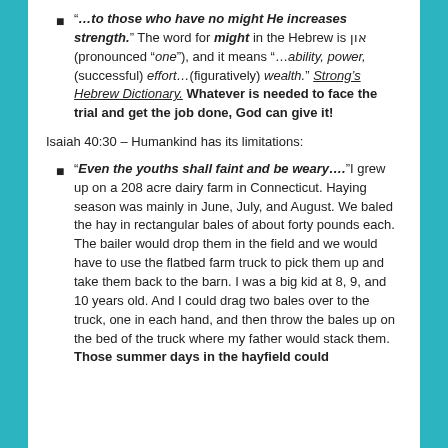“…to those who have no might He increases strength.” The word for might in the Hebrew is און (pronounced “one”), and it means “…ability, power, (successful) effort…(figuratively) wealth.” Strong’s Hebrew Dictionary. Whatever is needed to face the trial and get the job done, God can give it!
Isaiah 40:30 – Humankind has its limitations:
“Even the youths shall faint and be weary….”I grew up on a 208 acre dairy farm in Connecticut. Haying season was mainly in June, July, and August. We baled the hay in rectangular bales of about forty pounds each. The bailer would drop them in the field and we would have to use the flatbed farm truck to pick them up and take them back to the barn. I was a big kid at 8, 9, and 10 years old. And I could drag two bales over to the truck, one in each hand, and then throw the bales up on the bed of the truck where my father would stack them. Those summer days in the hayfield could